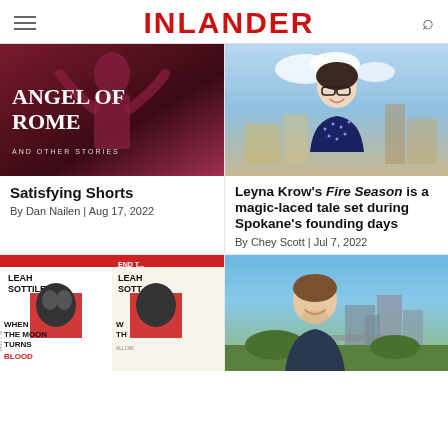INLANDER
[Figure (photo): Book cover: Angel of Rome and Other Stories]
Satisfying Shorts
By Dan Nailen | Aug 17, 2022
[Figure (photo): Photo of a woman with glasses standing outdoors in Spokane, wearing a dark blue dotted blouse]
Leyna Krow's Fire Season is a magic-laced tale set during Spokane's founding days
By Chey Scott | Jul 7, 2022
[Figure (photo): Book cover: When the Moon Turns Blood by Leah Sottile]
[Figure (photo): Photo of a man smiling outdoors with Spokane skyline in background]